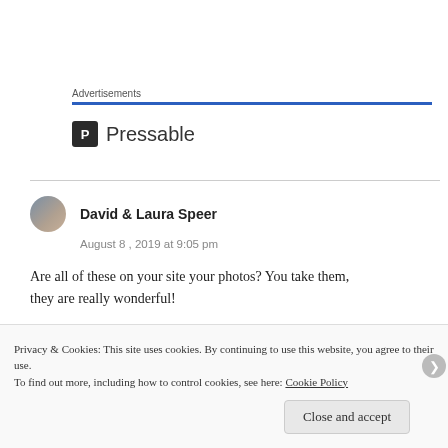Advertisements
[Figure (logo): Pressable logo with blue P icon and wordmark]
David & Laura Speer
August 8, 2019 at 9:05 pm
Are all of these on your site your photos? You take them, they are really wonderful!
Privacy & Cookies: This site uses cookies. By continuing to use this website, you agree to their use.
To find out more, including how to control cookies, see here: Cookie Policy